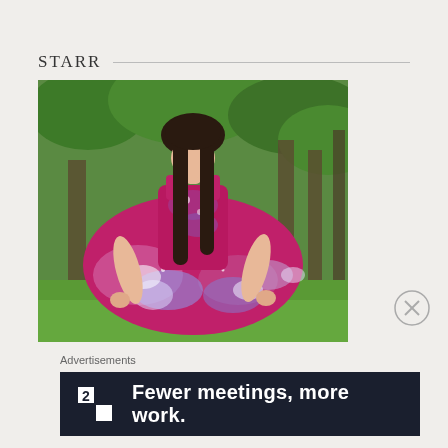STARR
[Figure (photo): Young woman with long dark hair wearing a galaxy-print skater dress (pink/magenta with blue and white nebula patterns), standing outdoors in a wooded area with green trees, holding out the skirt of her dress.]
Advertisements
[Figure (infographic): Dark navy advertisement banner showing a small white square icon with '2' and the text 'Fewer meetings, more work.' in bold white font.]